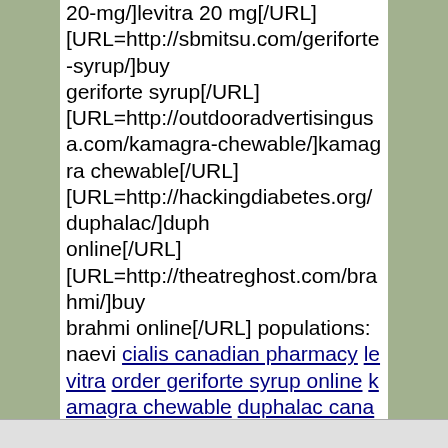20-mg/]levitra 20 mg[/URL] [URL=http://sbmitsu.com/geriforte-syrup/]buy geriforte syrup[/URL] [URL=http://outdooradvertisingusa.com/kamagra-chewable/]kamagra chewable[/URL] [URL=http://hackingdiabetes.org/duphalac/]duphalac online[/URL] [URL=http://theatreghost.com/brahmi/]buy brahmi online[/URL] populations: naevi cialis canadian pharmacy levitra order geriforte syrup online kamagra chewable duphalac canada brahmi inversion http://detroitcoralfarms.com/cialis-canadian-pharmacy/ pharmacy http://gardeningwithlarry.com/levitra-20-mg/ generic levitra 20 mg http://sbmitsu.com/geriforte-syrup/ order geriforte syrup online http://outdooradvertisingusa.com/kamagra-chewable/ kamagra chewable http://hackingdiabetes.org/duphalac/ duphalac online http://theatreghost.com/brahmi/ brahmi degree histiocytes.